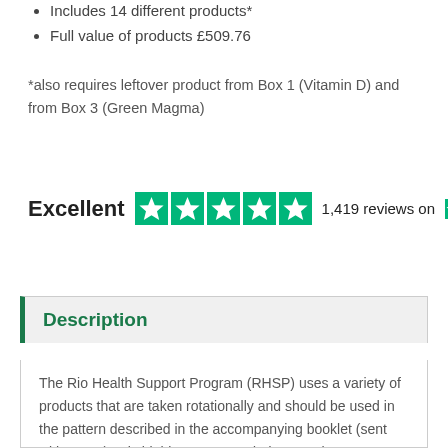Includes 14 different products*
Full value of products £509.76
*also requires leftover product from Box 1 (Vitamin D) and from Box 3 (Green Magma)
[Figure (other): Trustpilot rating widget: Excellent, 5 green stars, 1,419 reviews on Trustpilot]
Description
The Rio Health Support Program (RHSP) uses a variety of products that are taken rotationally and should be used in the pattern described in the accompanying booklet (sent with Box 1). It is highly recommended to use the RHSP under the guidance